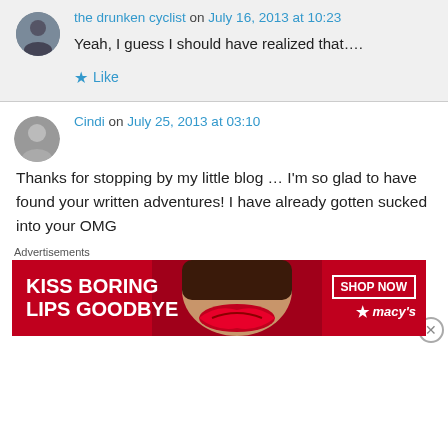the drunken cyclist on July 16, 2013 at 10:23
Yeah, I guess I should have realized that….
Like
Cindi on July 25, 2013 at 03:10
Thanks for stopping by my little blog … I'm so glad to have found your written adventures! I have already gotten sucked into your OMG
Advertisements
[Figure (other): Macy's advertisement banner: KISS BORING LIPS GOODBYE with SHOP NOW button and Macy's star logo]